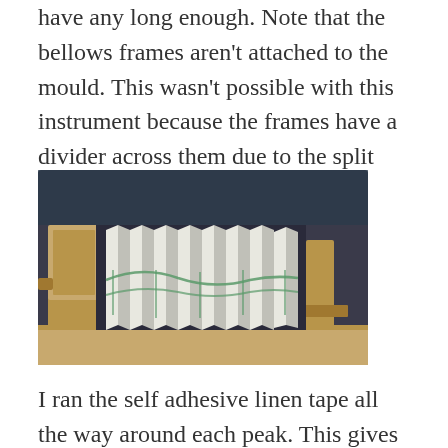have any long enough. Note that the bellows frames aren't attached to the mould. This wasn't possible with this instrument because the frames have a divider across them due to the split reed pan design.
[Figure (photo): A photograph of a bellows frame assembly mounted on a wooden jig/stand. The bellows shows multiple accordion-style folded panels made of white/light-colored material with green tape visible. The wooden stand has a horizontal base and vertical supports holding the bellows frame horizontally.]
I ran the self adhesive linen tape all the way around each peak. This gives a stronger bellows